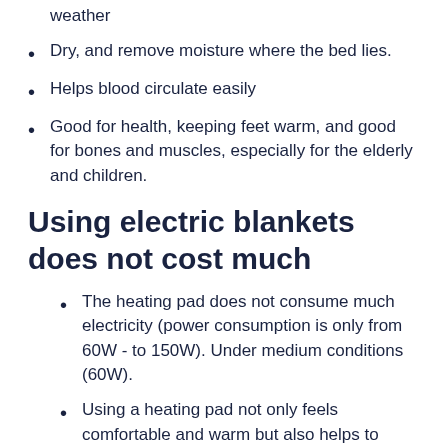Provides stable heat for the body in cold weather
Dry, and remove moisture where the bed lies.
Helps blood circulate easily
Good for health, keeping feet warm, and good for bones and muscles, especially for the elderly and children.
Using electric blankets does not cost much
The heating pad does not consume much electricity (power consumption is only from 60W - to 150W). Under medium conditions (60W).
Using a heating pad not only feels comfortable and warm but also helps to make the